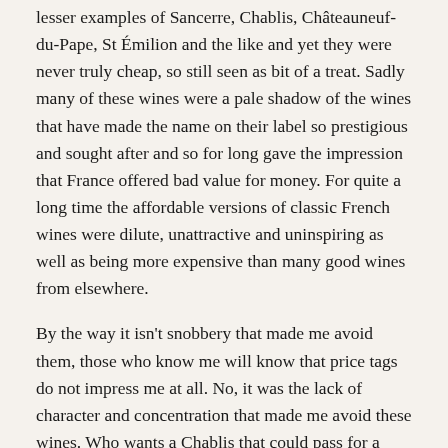lesser examples of Sancerre, Chablis, Châteauneuf-du-Pape, St Émilion and the like and yet they were never truly cheap, so still seen as bit of a treat. Sadly many of these wines were a pale shadow of the wines that have made the name on their label so prestigious and sought after and so for long gave the impression that France offered bad value for money. For quite a long time the affordable versions of classic French wines were dilute, unattractive and uninspiring as well as being more expensive than many good wines from elsewhere.
By the way it isn't snobbery that made me avoid them, those who know me will know that price tags do not impress me at all. No, it was the lack of character and concentration that made me avoid these wines. Who wants a Chablis that could pass for a Muscadet in a blind tasting, or a Châteauneuf that offers less character than a Fitou or Minervois?
This lack of quality at the lower end was, in my opinion at least